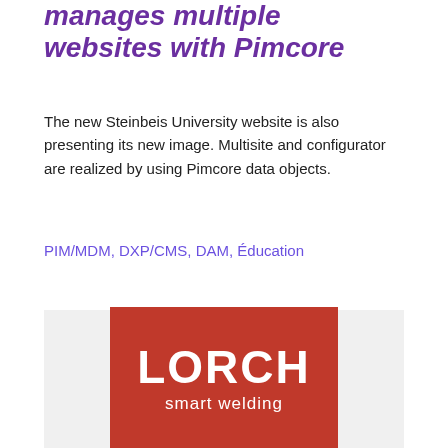manages multiple websites with Pimcore
The new Steinbeis University website is also presenting its new image. Multisite and configurator are realized by using Pimcore data objects.
PIM/MDM, DXP/CMS, DAM, Éducation
[Figure (logo): Lorch smart welding logo — white text on dark red/crimson background, large bold LORCH above smaller 'smart welding' text]